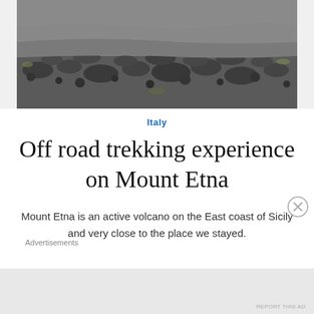[Figure (photo): Rocky volcanic lava field on Mount Etna, showing dark grey jagged rocks and sparse vegetation]
Italy
Off road trekking experience on Mount Etna
Mount Etna is an active volcano on the East coast of Sicily and very close to the place we stayed.
Advertisements
REPORT THIS AD